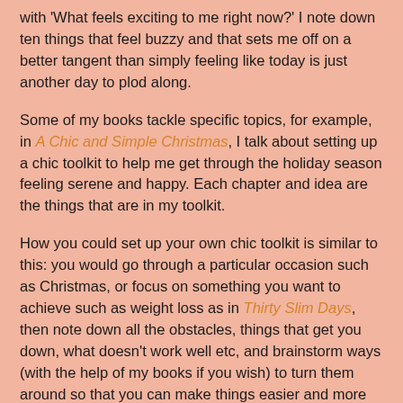with 'What feels exciting to me right now?' I note down ten things that feel buzzy and that sets me off on a better tangent than simply feeling like today is just another day to plod along.
Some of my books tackle specific topics, for example, in A Chic and Simple Christmas, I talk about setting up a chic toolkit to help me get through the holiday season feeling serene and happy. Each chapter and idea are the things that are in my toolkit.
How you could set up your own chic toolkit is similar to this: you would go through a particular occasion such as Christmas, or focus on something you want to achieve such as weight loss as in Thirty Slim Days, then note down all the obstacles, things that get you down, what doesn't work well etc, and brainstorm ways (with the help of my books if you wish) to turn them around so that you can make things easier and more fun. You will look forward to these times or situations because you feel more in control instead of dreading them and feeling helpless to change anything.